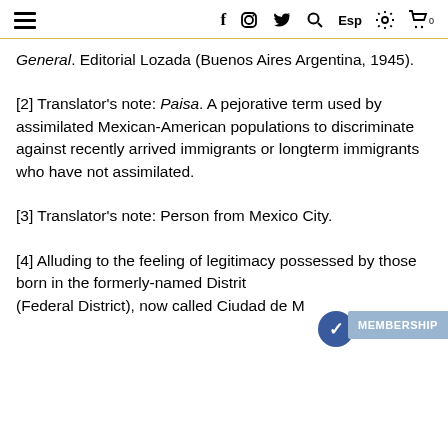≡  f  [instagram]  [twitter]  [search]  Esp  [settings]  [cart] 0
General. Editorial Lozada (Buenos Aires Argentina, 1945).
[2] Translator's note: Paisa. A pejorative term used by assimilated Mexican-American populations to discriminate against recently arrived immigrants or longterm immigrants who have not assimilated.
[3] Translator's note: Person from Mexico City.
[4] Alluding to the feeling of legitimacy possessed by those born in the formerly-named Distrito Federal (Federal District), now called Ciudad de México, CDMX...